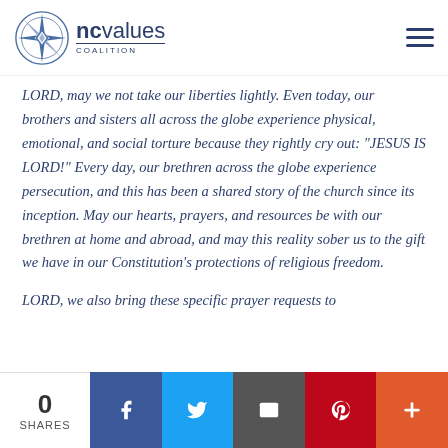NC Values Coalition logo and navigation
LORD, may we not take our liberties lightly. Even today, our brothers and sisters all across the globe experience physical, emotional, and social torture because they rightly cry out: "JESUS IS LORD!" Every day, our brethren across the globe experience persecution, and this has been a shared story of the church since its inception. May our hearts, prayers, and resources be with our brethren at home and abroad, and may this reality sober us to the gift we have in our Constitution's protections of religious freedom.

LORD, we also bring these specific prayer requests to
0 SHARES | Facebook | Twitter | Email | Pinterest | +